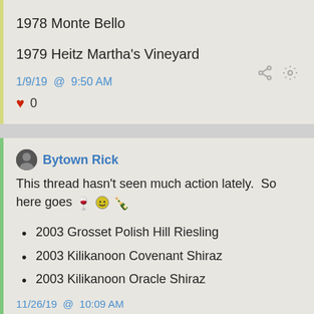1978 Monte Bello
1979 Heitz Martha's Vineyard
1/9/19 @ 9:50 AM
♥ 0
Bytown Rick
This thread hasn't seen much action lately.  So here goes 🍷🙂🍾
2003 Grosset Polish Hill Riesling
2003 Kilikanoon Covenant Shiraz
2003 Kilikanoon Oracle Shiraz
11/26/19 @ 10:09 AM